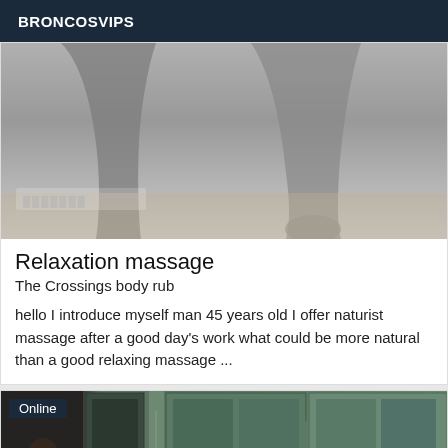BRONCOSVIPS
[Figure (photo): Grayscale photo showing a person's legs and feet standing on a wooden floor]
Relaxation massage
The Crossings body rub
hello I introduce myself man 45 years old I offer naturist massage after a good day's work what could be more natural than a good relaxing massage ...
[Figure (photo): Photo showing a room with green sliding doors/wardrobe; Online badge visible in top-left corner]